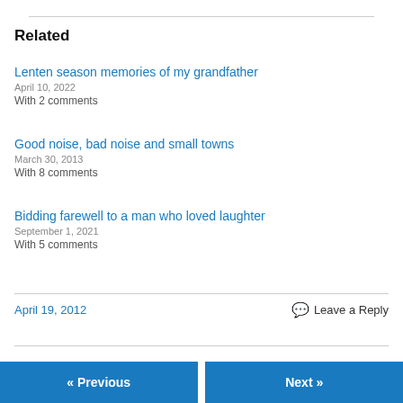Related
Lenten season memories of my grandfather
April 10, 2022
With 2 comments
Good noise, bad noise and small towns
March 30, 2013
With 8 comments
Bidding farewell to a man who loved laughter
September 1, 2021
With 5 comments
April 19, 2012
💬 Leave a Reply
« Previous   Next »